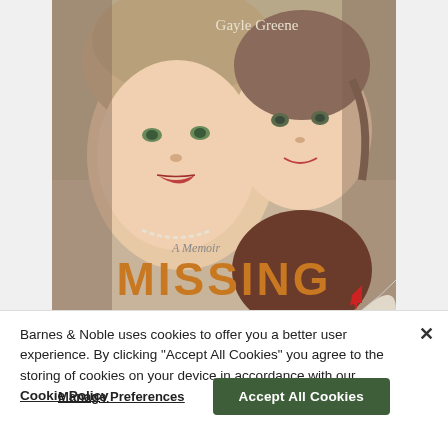[Figure (illustration): Book cover of 'Missing: A Memoir' by Gayle Greene. Shows a vintage photograph of a woman and a young girl. The title 'MISSING' appears in large orange letters at the bottom, with 'A Memoir' in smaller text above it. Author name 'Gayle Greene' appears at the top right.]
Barnes & Noble uses cookies to offer you a better user experience. By clicking "Accept All Cookies" you agree to the storing of cookies on your device in accordance with our Cookie Policy
Manage Preferences
Accept All Cookies